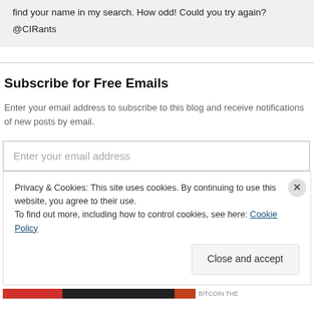find your name in my search. How odd! Could you try again?
@CIRants
Subscribe for Free Emails
Enter your email address to subscribe to this blog and receive notifications of new posts by email.
Enter your email address
Privacy & Cookies: This site uses cookies. By continuing to use this website, you agree to their use.
To find out more, including how to control cookies, see here: Cookie Policy
Close and accept